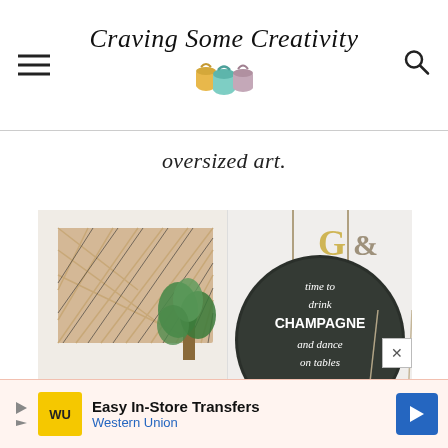Craving Some Creativity
oversized art.
[Figure (photo): Two-panel photo: left side shows a geometric wood art piece above a tan leather couch with a plant; right side shows dark circular chalkboard signs reading 'time to drink CHAMPAGNE and dance on tables' and 'last call'. Partially overlaid with a coral/pink DIY graphic banner at the bottom.]
[Figure (other): Western Union advertisement banner: 'Easy In-Store Transfers' with Western Union logo and blue arrow icon.]